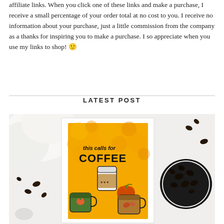affiliate links. When you click one of these links and make a purchase, I receive a small percentage of your order total at no cost to you. I receive no information about your purchase, just a little commission from the company as a thanks for inspiring you to make a purchase. I so appreciate when you use my links to shop! 🙂
LATEST POST
[Figure (photo): A crafted greeting card with an autumn/fall coffee theme on a white background surrounded by coffee beans. The card shows coffee cups, a pumpkin, and text reading 'this calls for COFFEE' on an orange and yellow bokeh background. A black mug filled with coffee beans is visible to the right.]